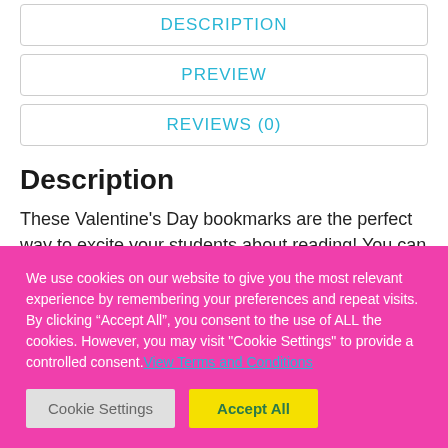DESCRIPTION
PREVIEW
REVIEWS (0)
Description
These Valentine's Day bookmarks are the perfect way to excite your students about reading! You can use them as classroom prizes, student gifts, or just keep a bunch of
We use cookies on our website to give you the most relevant experience by remembering your preferences and repeat visits. By clicking “Accept All”, you consent to the use of ALL the cookies. However, you may visit "Cookie Settings" to provide a controlled consent. View Terms and Conditions
Cookie Settings
Accept All